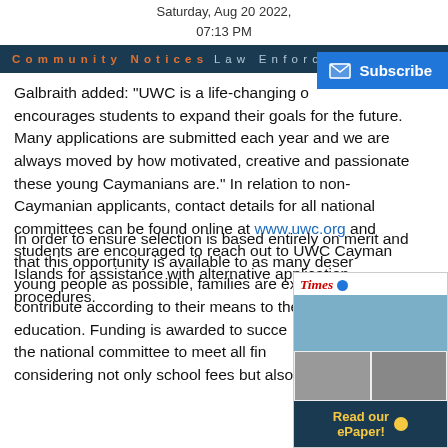Saturday, Aug 20 2022,
07:13 PM
Community Notices  Law Enforcement  Government  Hurricane Watch  CO...
Galbraith added: "UWC is a life-changing opportunity that encourages students to expand their goals for the future. Many applications are submitted each year and we are always moved by how motivated, creative and passionate these young Caymanians are." In relation to non-Caymanian applicants, contact details for all national committees can be found online at www.uwc.org and students are encouraged to reach out to UWC Cayman Islands for assistance with alternative application procedures.
In order to ensure selection is based entirely on merit and that this opportunity is available to as many deserving young people as possible, families are expected to contribute according to their means to the costs of education. Funding is awarded to successful applicants by the national committee to meet all financial needs, considering not only school fees but also travel and other